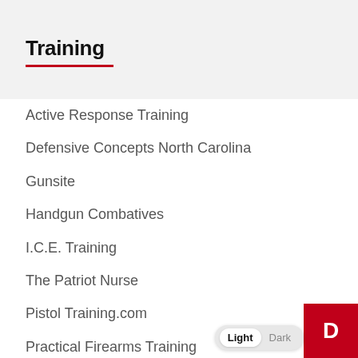Training
Active Response Training
Defensive Concepts North Carolina
Gunsite
Handgun Combatives
I.C.E. Training
The Patriot Nurse
Pistol Training.com
Practical Firearms Training
Rangemaster
Shootrite Firearms Academy